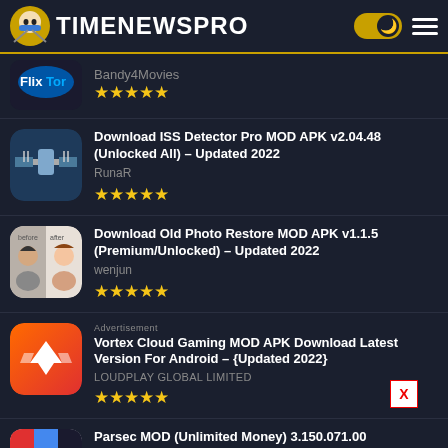TIMENEWSPRO
Bandy4Movies ★★★★★
Download ISS Detector Pro MOD APK v2.04.48 (Unlocked All) – Updated 2022
RunaR ★★★★★
Download Old Photo Restore MOD APK v1.1.5 (Premium/Unlocked) – Updated 2022
wenjun ★★★★★
Vortex Cloud Gaming MOD APK Download Latest Version For Android – {Updated 2022}
LOUDPLAY GLOBAL LIMITED ★★★★★
Parsec MOD (Unlimited Money) 3.150.071.00